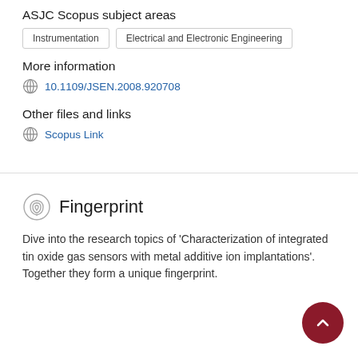ASJC Scopus subject areas
Instrumentation
Electrical and Electronic Engineering
More information
10.1109/JSEN.2008.920708
Other files and links
Scopus Link
Fingerprint
Dive into the research topics of 'Characterization of integrated tin oxide gas sensors with metal additive ion implantations'. Together they form a unique fingerprint.